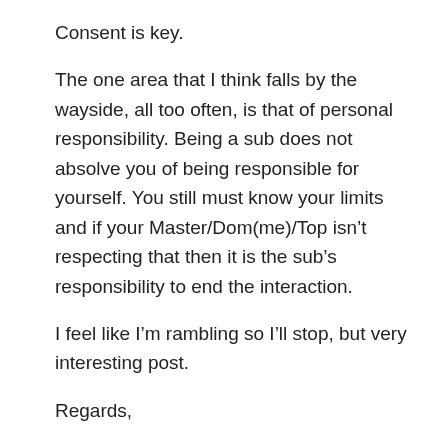Consent is key.
The one area that I think falls by the wayside, all too often, is that of personal responsibility. Being a sub does not absolve you of being responsible for yourself. You still must know your limits and if your Master/Dom(me)/Top isn’t respecting that then it is the sub’s responsibility to end the interaction.
I feel like I’m rambling so I’ll stop, but very interesting post.
Regards,
E.S.
★ Like